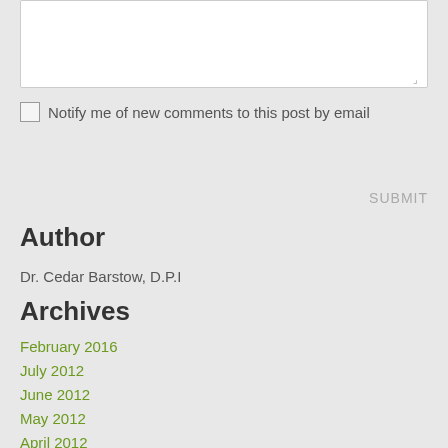[Figure (other): Text area input box (web form UI element)]
Notify me of new comments to this post by email
SUBMIT
Author
Dr. Cedar Barstow, D.P.I
Archives
February 2016
July 2012
June 2012
May 2012
April 2012
March 2012
February 2012